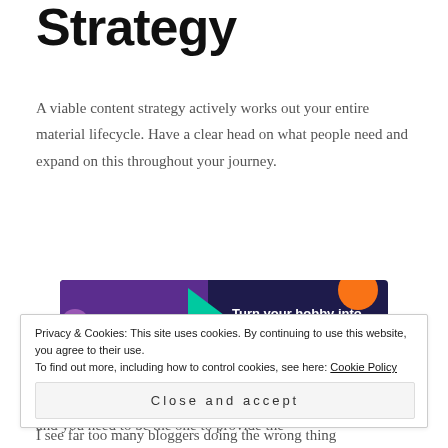Strategy
A viable content strategy actively works out your entire material lifecycle. Have a clear head on what people need and expand on this throughout your journey.
[Figure (other): WooCommerce advertisement banner: dark purple background with teal triangle, orange and blue blobs. Text: 'Turn your hobby into a business in 8 steps'. WooCommerce logo on left.]
REPORT THIS AD
Your job is to be the middle man in-between people's issues and you need to be the one to provide the
Privacy & Cookies: This site uses cookies. By continuing to use this website, you agree to their use.
To find out more, including how to control cookies, see here: Cookie Policy
Close and accept
I see far too many bloggers doing the wrong thing